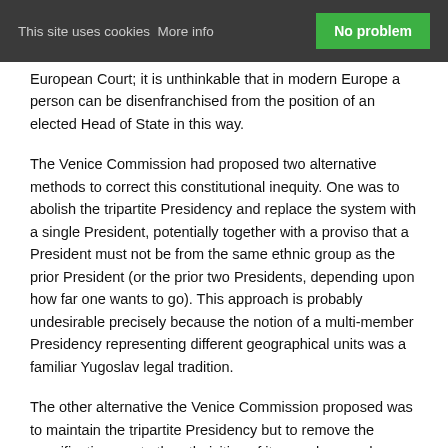This site uses cookies More info  No problem
...European Court; it is unthinkable that in modern Europe a person can be disenfranchised from the position of an elected Head of State in this way.
The Venice Commission had proposed two alternative methods to correct this constitutional inequity. One was to abolish the tripartite Presidency and replace the system with a single President, potentially together with a proviso that a President must not be from the same ethnic group as the prior President (or the prior two Presidents, depending upon how far one wants to go). This approach is probably undesirable precisely because the notion of a multi-member Presidency representing different geographical units was a familiar Yugoslav legal tradition.
The other alternative the Venice Commission proposed was to maintain the tripartite Presidency but to remove the specifications as to the ethnicities of its members and instead to